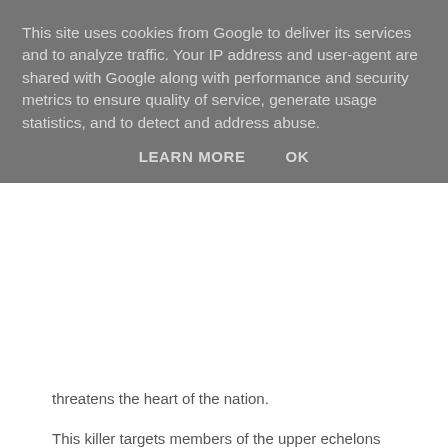This site uses cookies from Google to deliver its services and to analyze traffic. Your IP address and user-agent are shared with Google along with performance and security metrics to ensure quality of service, generate usage statistics, and to detect and address abuse.
LEARN MORE   OK
threatens the heart of the nation.
This killer targets members of the upper echelons of British society, leaving with each corpse the name of someone who previously attempted to kill Queen Victoria. The evidence indicates that the ultimate victim will be Victoria herself. As De Quincey and Emily race to protect the queen, they uncover long-buried secrets and the heartbreaking past of a man whose lust for revenge has destroyed his soul.
Based on actual attempts to assassinate Queen Victoria, Inspector of the Dead